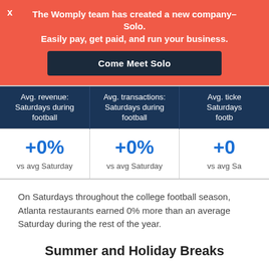The Womply team has created a new company–Solo. Easily pay, get paid, and run your business.
Come Meet Solo
| Avg. revenue: Saturdays during football | Avg. transactions: Saturdays during football | Avg. ticket Saturdays during football |
| --- | --- | --- |
| +0%
vs avg Saturday | +0%
vs avg Saturday | +0%
vs avg Saturday |
On Saturdays throughout the college football season, Atlanta restaurants earned 0% more than an average Saturday during the rest of the year.
Summer and Holiday Breaks